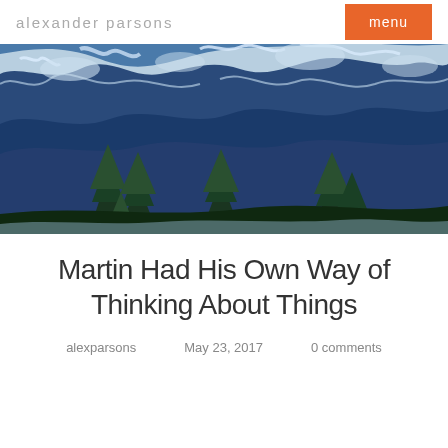alexander parsons
[Figure (photo): Mountain landscape with snow-covered rocky slopes and evergreen trees in the foreground under a blue sky]
Martin Had His Own Way of Thinking About Things
alexparsons   May 23, 2017   0 comments